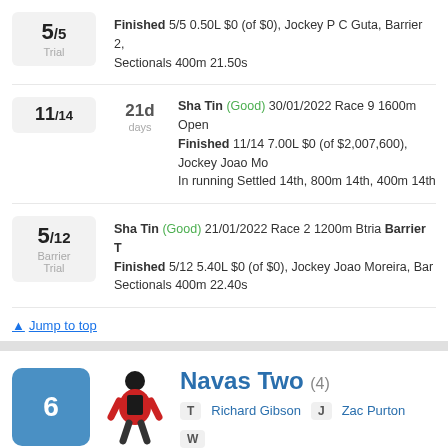5/5 Trial — Finished 5/5 0.50L $0 (of $0), Jockey P C Guta, Barrier 2, Sectionals 400m 21.50s
11/14 21d days — Sha Tin (Good) 30/01/2022 Race 9 1600m Open Finished 11/14 7.00L $0 (of $2,007,600), Jockey Joao Mo... In running Settled 14th, 800m 14th, 400m 14th
5/12 Barrier Trial — Sha Tin (Good) 21/01/2022 Race 2 1200m Btria Barrier T Finished 5/12 5.40L $0 (of $0), Jockey Joao Moreira, Bar Sectionals 400m 22.40s
Jump to top
Navas Two (4)
T Richard Gibson  J Zac Purton  W
4 year old b gelding (male)
Foaled: 09/09/2017
Sire: Excelebration
Dam: Our Cougette
| Prizemoney | Ave $ | Win Range | Win | Place |
| --- | --- | --- | --- | --- |
| $714,259 | $47,617 | 1400m - 1450m | 33% | 60% |